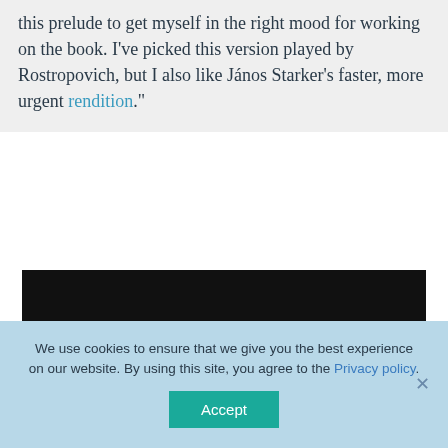this prelude to get myself in the right mood for working on the book. I've picked this version played by Rostropovich, but I also like János Starker's faster, more urgent rendition."
[Figure (other): Dark/black video embed placeholder]
We use cookies to ensure that we give you the best experience on our website. By using this site, you agree to the Privacy policy.